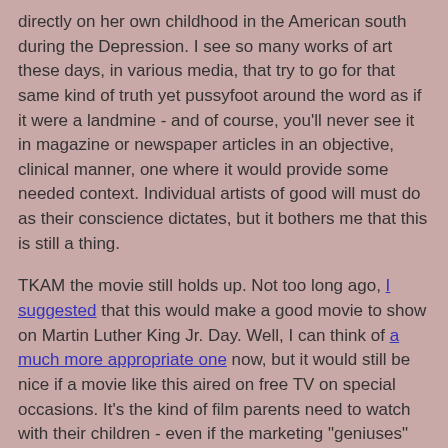directly on her own childhood in the American south during the Depression. I see so many works of art these days, in various media, that try to go for that same kind of truth yet pussyfoot around the word as if it were a landmine - and of course, you'll never see it in magazine or newspaper articles in an objective, clinical manner, one where it would provide some needed context. Individual artists of good will must do as their conscience dictates, but it bothers me that this is still a thing.
TKAM the movie still holds up. Not too long ago, I suggested that this would make a good movie to show on Martin Luther King Jr. Day. Well, I can think of a much more appropriate one now, but it would still be nice if a movie like this aired on free TV on special occasions. It's the kind of film parents need to watch with their children - even if the marketing "geniuses" behind this poster didn't agree. (Seriously? A movie centered around children, with children RIGHT THERE ON THE POSTER, and it's still considered not suitable for them? Give me a king-sized break.)
One last thing: the previous owner of my copy of TKAM was